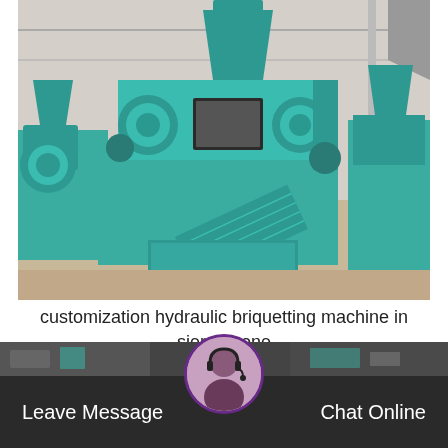[Figure (photo): A large teal/green colored hydraulic briquetting machine in an industrial warehouse setting. The machine has a prominent hopper on top, large rollers, a control panel window, and a conveyor output chute angled downward. Additional similar machines are visible in the background.]
customization hydraulic briquetting machine in sierra leone
[Figure (photo): Partial bottom strip showing a dark industrial scene background.]
Leave Message   Chat Online